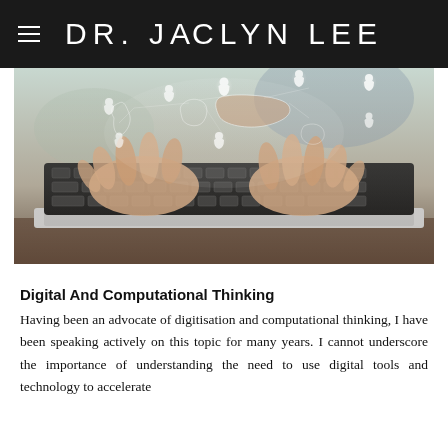DR. JACLYN LEE
[Figure (photo): Person's hands typing on a laptop keyboard with a holographic world map and glowing human figure icons floating above the keys, representing global digital connectivity]
Digital And Computational Thinking
Having been an advocate of digitisation and computational thinking, I have been speaking actively on this topic for many years. I cannot underscore the importance of understanding the need to use digital tools and technology to accelerate